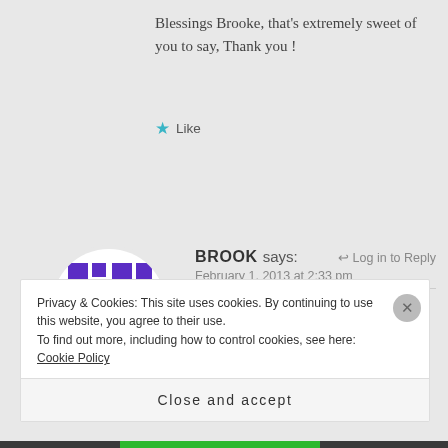Blessings Brooke, that's extremely sweet of you to say, Thank you !
★ Like
[Figure (logo): Circular avatar with purple geometric/cross pattern on white background]
BROOK says:
↩ Log in to Reply
February 1, 2013 at 2:33 pm
You're welcome:) Blessings to you also!
★ Like
Privacy & Cookies: This site uses cookies. By continuing to use this website, you agree to their use.
To find out more, including how to control cookies, see here: Cookie Policy
Close and accept